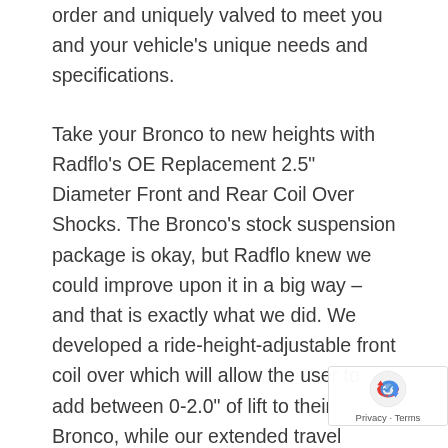order and uniquely valved to meet you and your vehicle's unique needs and specifications.
Take your Bronco to new heights with Radflo's OE Replacement 2.5" Diameter Front and Rear Coil Over Shocks. The Bronco's stock suspension package is okay, but Radflo knew we could improve upon it in a big way – and that is exactly what we did. We developed a ride-height-adjustable front coil over which will allow the user to add between 0-2.0" of lift to their Bronco, while our extended travel option will allow for 2.0" to 3.0" inches of lift with an aftermarket upper control arm.**
In addition to the ability to add lift to the new Bronco, our OE Replacement shocks will offer Bronco owners improved handling and ride quality both on and off road. With more than 16 years of race-winning technology poured into these shocks, we are confident
[Figure (other): reCAPTCHA widget overlay with Privacy and Terms links]